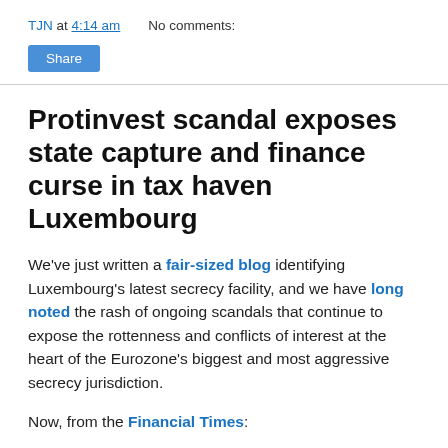TJN at 4:14 am    No comments:
Share
Protinvest scandal exposes state capture and finance curse in tax haven Luxembourg
We've just written a fair-sized blog identifying Luxembourg's latest secrecy facility, and we have long noted the rash of ongoing scandals that continue to expose the rottenness and conflicts of interest at the heart of the Eurozone's biggest and most aggressive secrecy jurisdiction.
Now, from the Financial Times:
The head of ProtInvest, an investor-protection group, has sent a letter to Michel Barnier, an EU